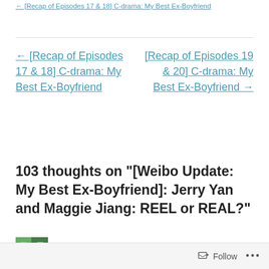← [Recap of Episodes 17 & 18] C-drama: My Best Ex-Boyfriend
[Recap of Episodes 19 & 20] C-drama: My Best Ex-Boyfriend →
103 thoughts on "[Weibo Update: My Best Ex-Boyfriend]: Jerry Yan and Maggie Jiang: REEL or REAL?"
claire
Follow